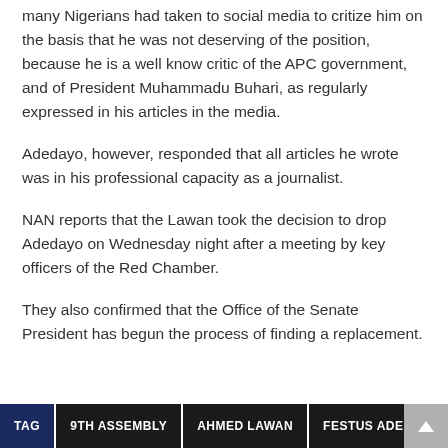many Nigerians had taken to social media to critize him on the basis that he was not deserving of the position, because he is a well know critic of the APC government, and of President Muhammadu Buhari, as regularly expressed in his articles in the media.
Adedayo, however, responded that all articles he wrote was in his professional capacity as a journalist.
NAN reports that the Lawan took the decision to drop Adedayo on Wednesday night after a meeting by key officers of the Red Chamber.
They also confirmed that the Office of the Senate President has begun the process of finding a replacement.
TAG  9TH ASSEMBLY  AHMED LAWAN  FESTUS ADEDAYO